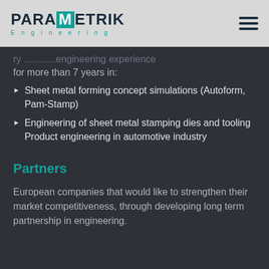[Figure (logo): PARAMETRIK Engineering logo with teal M block and teal 'Engineering' subtitle in spaced letters]
for more than 7 years in:
Sheet metal forming concept simulations (Autoform, Pam-Stamp)
Engineering of sheet metal stamping dies and tooling Product engineering in automotive industry
Partners
European companies that would like to strengthen their market competitiveness, through developing long term partnership in engineering.